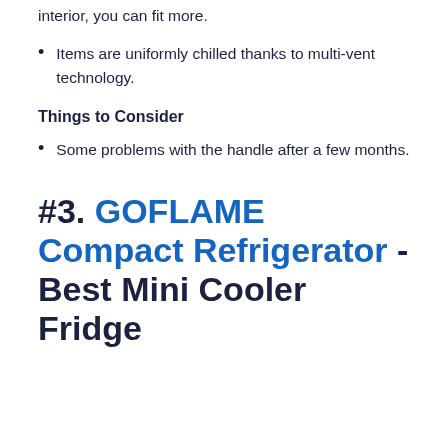interior, you can fit more.
Items are uniformly chilled thanks to multi-vent technology.
Things to Consider
Some problems with the handle after a few months.
#3. GOFLAME Compact Refrigerator - Best Mini Cooler Fridge